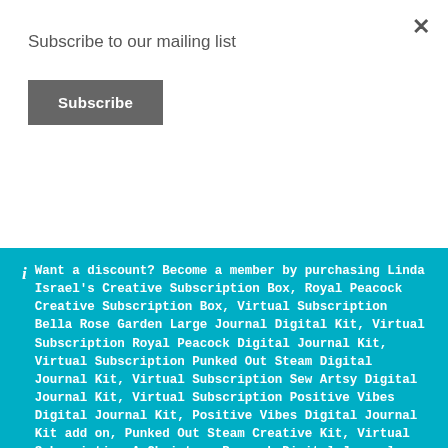Subscribe to our mailing list
Subscribe
Want a discount? Become a member by purchasing Linda Israel's Creative Subscription Box, Royal Peacock Creative Subscription Box, Virtual Subscription Bella Rose Garden Large Journal Digital Kit, Virtual Subscription Royal Peacock Digital Journal Kit, Virtual Subscription Punked Out Steam Digital Journal Kit, Virtual Subscription Sew Artsy Digital Journal Kit, Virtual Subscription Positive Vibes Digital Journal Kit, Positive Vibes Digital Journal Kit add on, Punked Out Steam Creative Kit, Virtual Subscription A Christmas Peacock Digital Journal Kit, Positive Vibes Creative Kit, Virtual Subscription A Christmas Peacock Digital Journal Kit, Virtual Subscription A Christmas Peacock Digital Journal Kit – Large Journal Digital Kit $14.99, Virtual Subscription A Christmas Peacock Digital Journal Kit